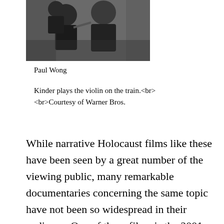[Figure (photo): Black and white photograph of children, one playing violin on a train]
Paul Wong
Kinder plays the violin on the train.<br><br>Courtesy of Warner Bros.
While narrative Holocaust films like these have been seen by a great number of the viewing public, many remarkable documentaries concerning the same topic have not been so widespread in their audience. One of these films is the 2001 Academy Award winner for Best Documentary, “Into the Arms of Strangers: Stories of the Kindertransport."